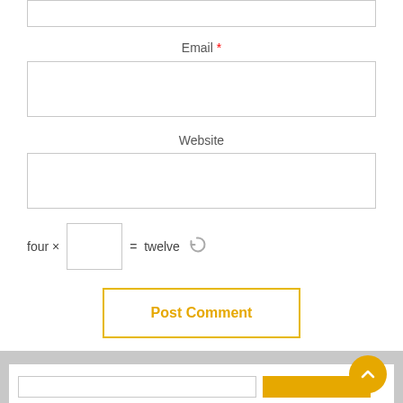Email *
Website
four × [input] = twelve
Post Comment